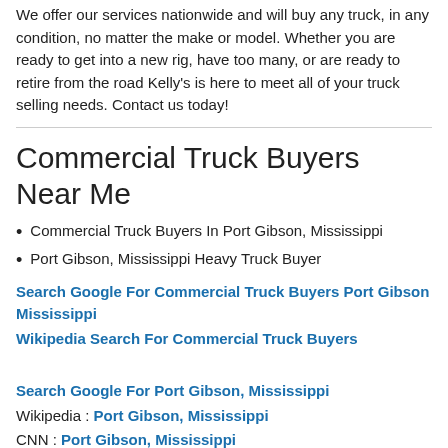We offer our services nationwide and will buy any truck, in any condition, no matter the make or model. Whether you are ready to get into a new rig, have too many, or are ready to retire from the road Kelly's is here to meet all of your truck selling needs. Contact us today!
Commercial Truck Buyers Near Me
Commercial Truck Buyers In Port Gibson, Mississippi
Port Gibson, Mississippi Heavy Truck Buyer
Search Google For Commercial Truck Buyers Port Gibson Mississippi
Wikipedia Search For Commercial Truck Buyers
Search Google For Port Gibson, Mississippi
Wikipedia : Port Gibson, Mississippi
CNN : Port Gibson, Mississippi